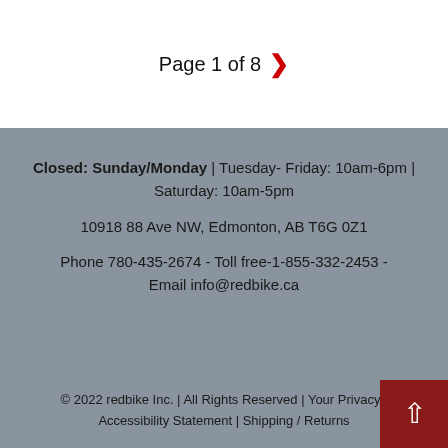Page 1 of 8 ›
Closed: Sunday/Monday | Tuesday- Friday: 10am-6pm | Saturday: 10am-5pm
10918 88 Ave NW, Edmonton, AB T6G 0Z1
Phone 780-435-2674 - Toll free-1-855-332-2453 - Email info@redbike.ca
© 2022 redbike Inc. | All Rights Reserved | Your Privacy | Accessibility Statement | Shipping / Returns